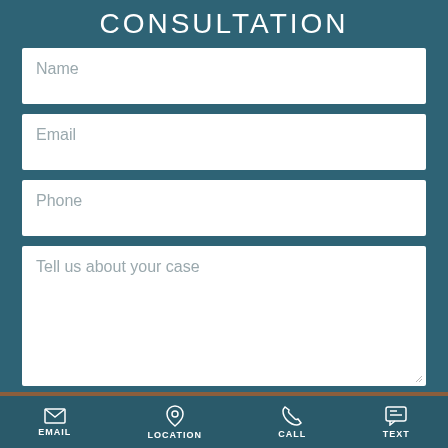CONSULTATION
Name
Email
Phone
Tell us about your case
EMAIL  LOCATION  CALL  TEXT